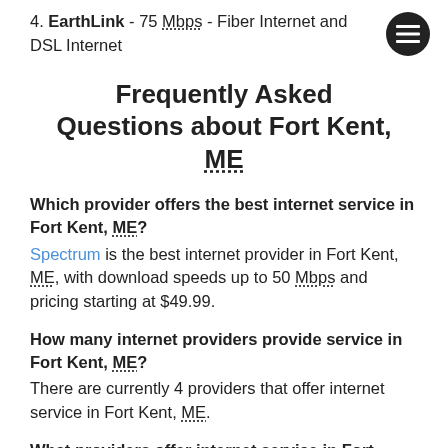4. EarthLink - 75 Mbps - Fiber Internet and DSL Internet
Frequently Asked Questions about Fort Kent, ME
Which provider offers the best internet service in Fort Kent, ME?
Spectrum is the best internet provider in Fort Kent, ME, with download speeds up to 50 Mbps and pricing starting at $49.99.
How many internet providers provide service in Fort Kent, ME?
There are currently 4 providers that offer internet service in Fort Kent, ME.
What providers offer internet service in Fort Kent, ME.
Spectrum, HughesNet, Viasat and EarthLink offer internet service in Fort Kent, ME.